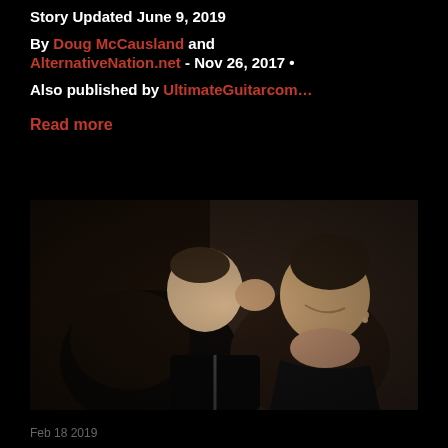Story Updated June 9, 2019
By Doug McCausland and AlternativeNation.net - Nov 26, 2017 • Also published by UltimateGuitarcom…
Read more
[Figure (photo): Black and white photo of two people, one kissing the other on the cheek, both smiling, indoor setting]
Feb 18 2019